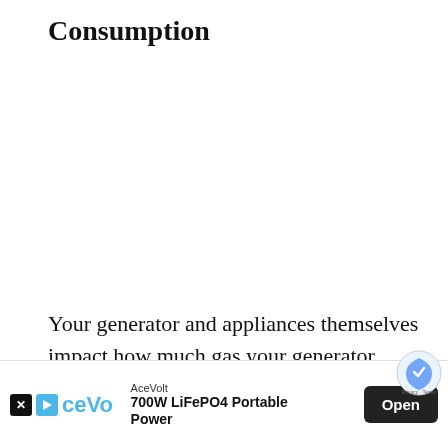Consumption
Your generator and appliances themselves impact how much gas your generator consumes, so let’s go into a little more de[tail] abou[t…]